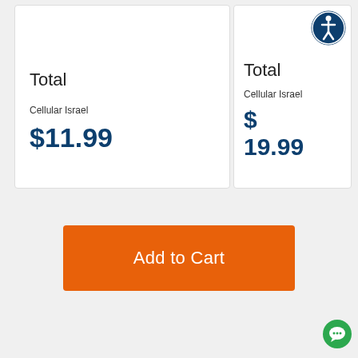Total
Cellular Israel
$11.99
[Figure (illustration): Accessibility icon: dark blue circle with white human figure and circle around it]
Total
Cellular Israel
$ 19.99
Add to Cart
[Figure (illustration): Green chat bubble icon in bottom right corner]